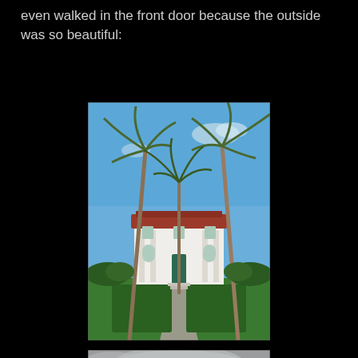even walked in the front door because the outside was so beautiful:
[Figure (photo): Exterior view of a white Mediterranean-style mansion with a red tile roof, framed by tall palm trees, with a manicured green hedge pathway leading to the front entrance under a blue sky.]
[Figure (photo): Partial view of another photo showing a cloudy grey sky, cropped at the bottom of the page.]